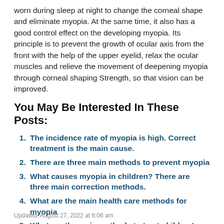worn during sleep at night to change the corneal shape and eliminate myopia. At the same time, it also has a good control effect on the developing myopia. Its principle is to prevent the growth of ocular axis from the front with the help of the upper eyelid, relax the ocular muscles and relieve the movement of deepening myopia through corneal shaping Strength, so that vision can be improved.
You May Be Interested In These Posts:
The incidence rate of myopia is high. Correct treatment is the main cause.
There are three main methods to prevent myopia
What causes myopia in children? There are three main correction methods.
What are the main health care methods for myopia
What are the main methods to treat children's myopia?
There are three main correction methods for children with low vision.
Updated: August 27, 2022 at 6:06 am